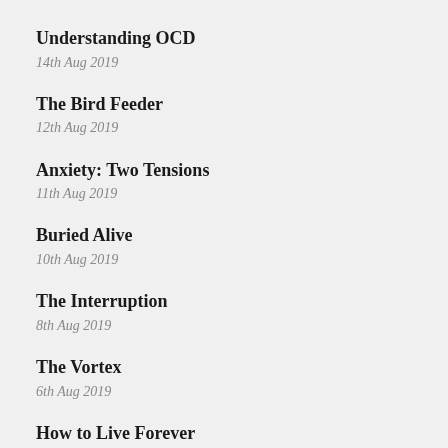Understanding OCD
14th Aug 2019
The Bird Feeder
12th Aug 2019
Anxiety: Two Tensions
11th Aug 2019
Buried Alive
10th Aug 2019
The Interruption
8th Aug 2019
The Vortex
6th Aug 2019
How to Live Forever
4th Aug 2019